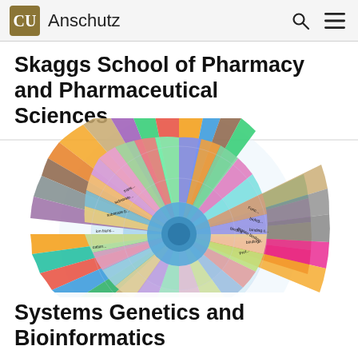CU Anschutz
Skaggs School of Pharmacy and Pharmaceutical Sciences
[Figure (infographic): Radial sunburst / pie-like chart with colored segments representing systems genetics and bioinformatics molecular pathway categories including protein binding, ion transport, substrate binding, and other gene ontology terms. Multiple colored concentric arcs with labels.]
Systems Genetics and Bioinformatics